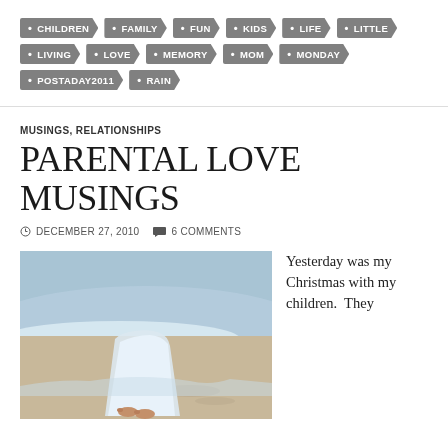CHILDREN
FAMILY
FUN
KIDS
LIFE
LITTLE
LIVING
LOVE
MEMORY
MOM
MONDAY
POSTADAY2011
RAIN
MUSINGS, RELATIONSHIPS
PARENTAL LOVE MUSINGS
DECEMBER 27, 2010   6 COMMENTS
[Figure (photo): Person standing barefoot on sandy beach in a white flowing dress, with ocean waves in the background]
Yesterday was my Christmas with my children.  They